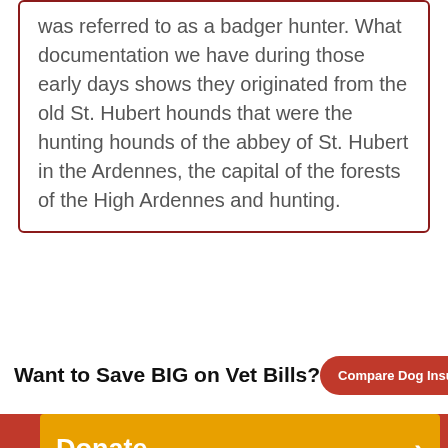was referred to as a badger hunter. What documentation we have during those early days shows they originated from the old St. Hubert hounds that were the hunting hounds of the abbey of St. Hubert in the Ardennes, the capital of the forests of the High Ardennes and hunting.
Want to Save BIG on Vet Bills?
Compare Dog Insurance Savings →
Donate
Foster/Volunteer